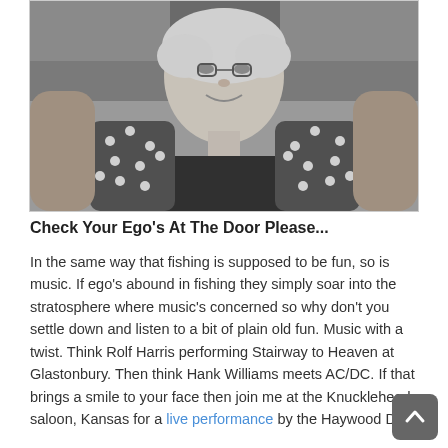[Figure (photo): Black and white photograph of a smiling older woman with curly light hair, wearing a dark sleeveless top with polka-dot sleeves raised up beside her head.]
Check Your Ego's At The Door Please...
In the same way that fishing is supposed to be fun, so is music. If ego's abound in fishing they simply soar into the stratosphere where music's concerned so why don't you settle down and listen to a bit of plain old fun. Music with a twist. Think Rolf Harris performing Stairway to Heaven at Glastonbury. Then think Hank Williams meets AC/DC. If that brings a smile to your face then join me at the Knuckleheads saloon, Kansas for a live performance by the Haywood Dixie